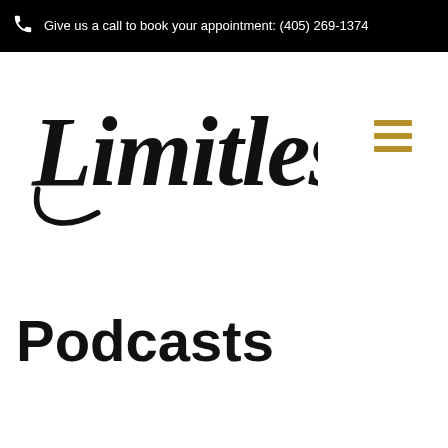Give us a call to book your appointment: (405) 269-1374
[Figure (logo): Limitless script logo in black cursive lettering]
[Figure (other): Hamburger menu icon with three gold/tan horizontal bars]
Podcasts